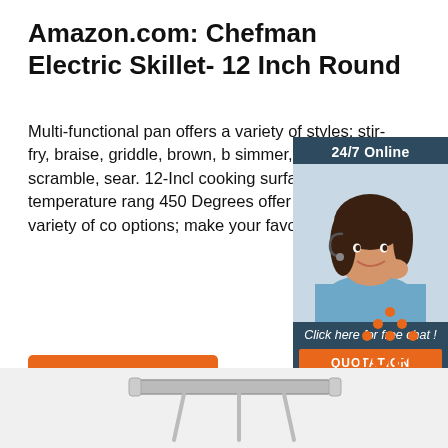Amazon.com: Chefman Electric Skillet- 12 Inch Round
Multi-functional pan offers a variety of styles; stir-fry, braise, griddle, brown, b simmer, saute, scramble, sear. 12-Incl cooking surface and temperature rang 450 Degrees offer a wide variety of co options; make your favorite dishes …
[Figure (infographic): Ad banner with woman wearing headset, '24/7 Online' text, 'Click here for free chat!' and orange QUOTATION button]
Get Price
[Figure (logo): Orange dots arranged in triangle above orange TOP text]
[Figure (photo): Gray background area showing partial view of Chefman electric skillet handle]